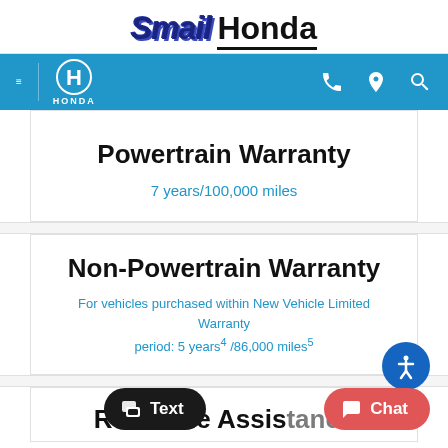Smail Honda
Powertrain Warranty
7 years/100,000 miles
Non-Powertrain Warranty
For vehicles purchased within New Vehicle Limited Warranty period: 5 years4 /86,000 miles5
Roadside Assistance